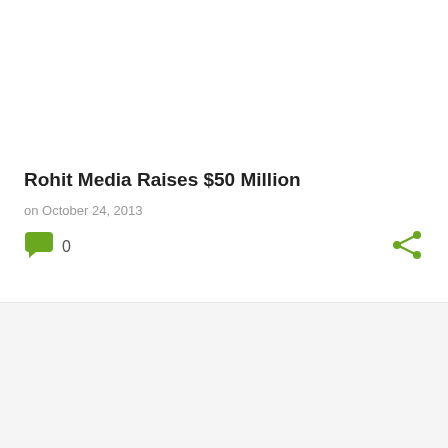Rohit Media Raises $50 Million
on October 24, 2013
0
Cyber War waged by US is being tried in Germany